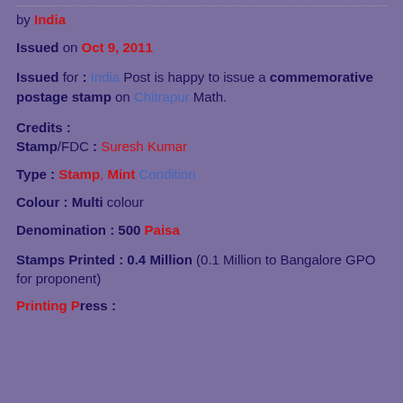by India
Issued on Oct 9, 2011
Issued for : India Post is happy to issue a commemorative postage stamp on Chitrapur Math.
Credits :
Stamp/FDC : Suresh Kumar
Type : Stamp, Mint Condition
Colour : Multi colour
Denomination : 500 Paisa
Stamps Printed : 0.4 Million (0.1 Million to Bangalore GPO for proponent)
Printing Press : ...